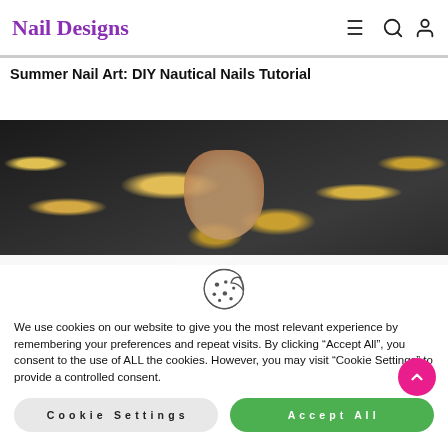Nail Designs
Summer Nail Art: DIY Nautical Nails Tutorial
[Figure (photo): Close-up photo of a hand holding nails with blurred golden bokeh circles in the background, dark background.]
We use cookies on our website to give you the most relevant experience by remembering your preferences and repeat visits. By clicking “Accept All”, you consent to the use of ALL the cookies. However, you may visit “Cookie Settings” to provide a controlled consent.